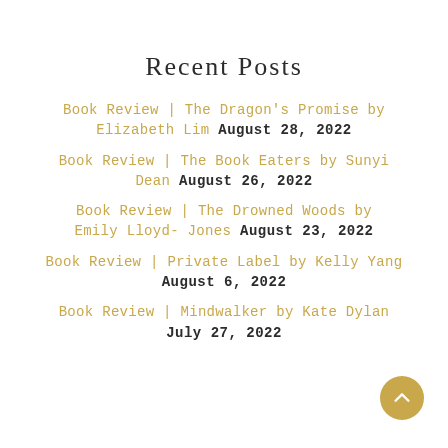Recent Posts
Book Review | The Dragon's Promise by Elizabeth Lim August 28, 2022
Book Review | The Book Eaters by Sunyi Dean August 26, 2022
Book Review | The Drowned Woods by Emily Lloyd- Jones August 23, 2022
Book Review | Private Label by Kelly Yang August 6, 2022
Book Review | Mindwalker by Kate Dylan July 27, 2022